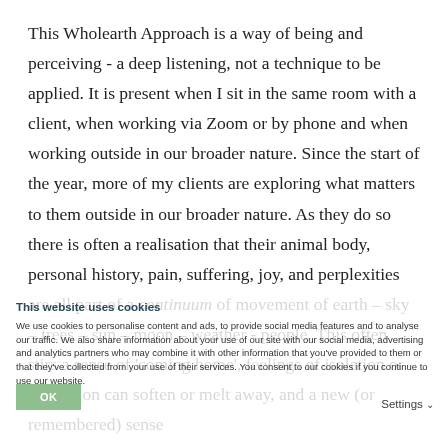This Wholearth Approach is a way of being and perceiving - a deep listening, not a technique to be applied. It is present when I sit in the same room with a client, when working via Zoom or by phone and when working outside in our broader nature. Since the start of the year, more of my clients are exploring what matters to them outside in our broader nature. As they do so there is often a realisation that their animal body, personal history, pain, suffering, joy, and perplexities are all part of a continuum of movement of earth – sky – trees – sun – moon – weather - people. This often stirs a sense of 'coming home', feelings of isolation or separation can soften or melt away, and a new (or remembered) sense
This website uses cookies
We use cookies to personalise content and ads, to provide social media features and to analyse our traffic. We also share information about your use of our site with our social media, advertising and analytics partners who may combine it with other information that you've provided to them or that they've collected from your use of their services. You consent to our cookies if you continue to use our website.